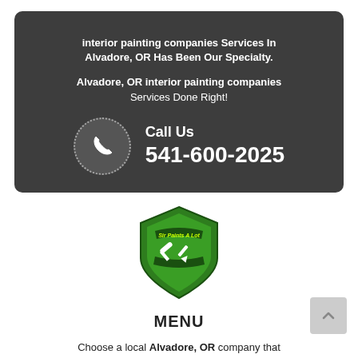interior painting companies Services In Alvadore, OR Has Been Our Specialty. Alvadore, OR interior painting companies Services Done Right!
Call Us 541-600-2025
[Figure (logo): Sir Paints A Lot shield logo with green background and paint rollers/brushes crossed]
MENU
Choose a local Alvadore, OR company that handles interior painting companies services. If you need interior painting companies services